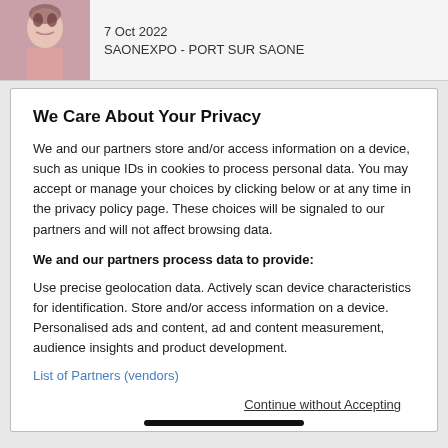7 Oct 2022
SAONEXPO - PORT SUR SAONE
We Care About Your Privacy
We and our partners store and/or access information on a device, such as unique IDs in cookies to process personal data. You may accept or manage your choices by clicking below or at any time in the privacy policy page. These choices will be signaled to our partners and will not affect browsing data.
We and our partners process data to provide:
Use precise geolocation data. Actively scan device characteristics for identification. Store and/or access information on a device. Personalised ads and content, ad and content measurement, audience insights and product development.
List of Partners (vendors)
Continue without Accepting